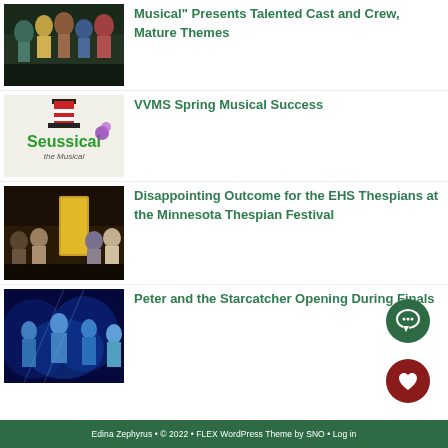[Figure (photo): Group of young performers in colorful costumes on stage]
Musical" Presents Talented Cast and Crew, Mature Themes
[Figure (logo): Seussical the Musical logo with Cat in the Hat hat]
VVMS Spring Musical Success
[Figure (photo): Theater cast on stage with yellow door set piece]
Disappointing Outcome for the EHS Thespians at the Minnesota Thespian Festival
[Figure (photo): Blue-lit performers in dramatic poses]
Peter and the Starcatcher Opening During Finals
Edina Zephyrus • © 2022 • FLEX WordPress Theme by SNO • Log in